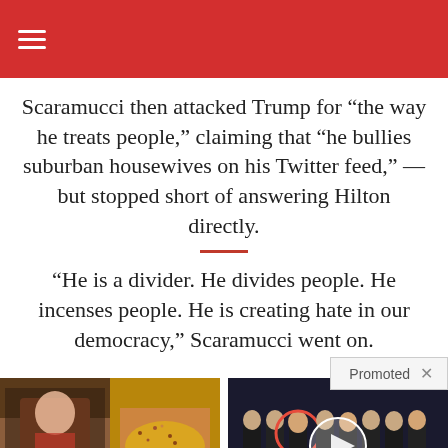Scaramucci then attacked Trump for “the way he treats people,” claiming that “he bullies suburban housewives on his Twitter feed,” — but stopped short of answering Hilton directly.
“He is a divider. He divides people. He incenses people. He is creating hate in our democracy,” Scaramucci went on.
[Figure (photo): Ad image showing fitness and spice/teaspoon visual]
A Teaspoon On An Empty Stomach Burns Fat Like Crazy!
147,153
[Figure (photo): Ad image showing group of men in suits at CIA headquarters, with a man circled in red]
Biden Probably Wants This Video Destroyed — US Dollar On Path Towards Replacement?
550,705